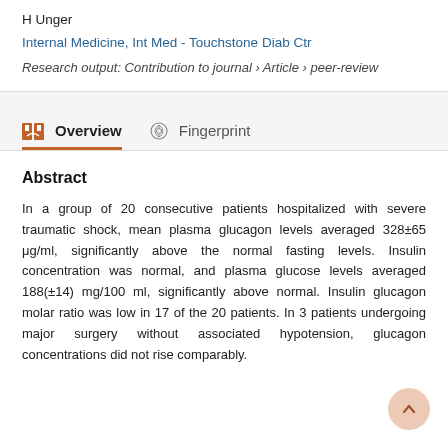H Unger
Internal Medicine, Int Med - Touchstone Diab Ctr
Research output: Contribution to journal › Article › peer-review
Overview
Fingerprint
Abstract
In a group of 20 consecutive patients hospitalized with severe traumatic shock, mean plasma glucagon levels averaged 328±65 μg/ml, significantly above the normal fasting levels. Insulin concentration was normal, and plasma glucose levels averaged 188(±14) mg/100 ml, significantly above normal. Insulin glucagon molar ratio was low in 17 of the 20 patients. In 3 patients undergoing major surgery without associated hypotension, glucagon concentrations did not rise comparably.